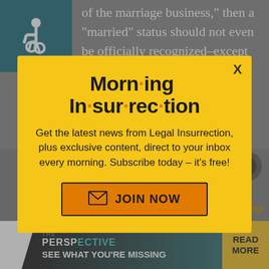of the marriage business,” then a “married” status should not even be officially recognized–except for enforcing a specific contract in the
[Figure (screenshot): Modal popup newsletter signup for Morning Insurrection from Legal Insurrection website with yellow background, close button X, title 'Morn·ing In·sur·rec·tion', body text, and orange JOIN NOW button]
marriage bus…ss.
Back to top
[Figure (screenshot): The Perspective banner ad at bottom: dark background with teal accent, white triangle shape, text 'THE PERSPECTIVE' and 'SEE WHAT YOU’RE MISSING' with yellow READ MORE button on right]
June 5, 2015 at 2:45 pm